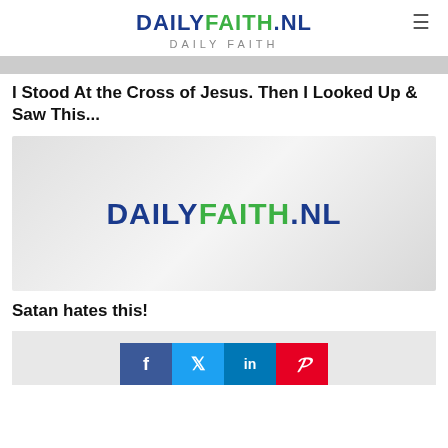DAILYFAITH.NL
DAILY FAITH
I Stood At the Cross of Jesus. Then I Looked Up & Saw This...
[Figure (logo): DAILYFAITH.NL logo on gray gradient background]
Satan hates this!
[Figure (infographic): Social sharing buttons: Facebook, Twitter, LinkedIn, Pinterest]